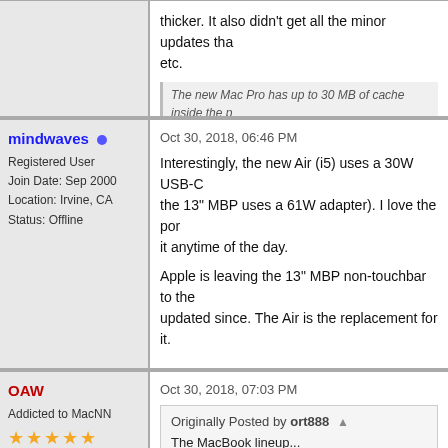thicker. It also didn't get all the minor updates that etc.
The new Mac Pro has up to 30 MB of cache inside the p
mindwaves
Registered User
Join Date: Sep 2000
Location: Irvine, CA
Status: Offline
Oct 30, 2018, 06:46 PM
Interestingly, the new Air (i5) uses a 30W USB-C the 13" MBP uses a 61W adapter). I love the por it anytime of the day.
Apple is leaving the 13" MBP non-touchbar to the updated since. The Air is the replacement for it.
OAW
Addicted to MacNN
Join Date: May 2001
Status: Offline
Oct 30, 2018, 07:03 PM
Originally Posted by ort888
The MacBook lineup...
12" MacBook
13" Air ?
13" Retina Air
13" MacBook Pro without Touchbar ?